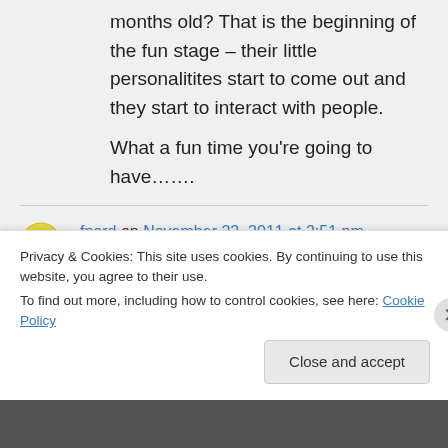months old? That is the beginning of the fun stage – their little personalitites start to come out and they start to interact with people.

What a fun time you're going to have…….
fnord on November 22, 2011 at 2:51 pm
They're flying from Boston and in
Privacy & Cookies: This site uses cookies. By continuing to use this website, you agree to their use.
To find out more, including how to control cookies, see here: Cookie Policy